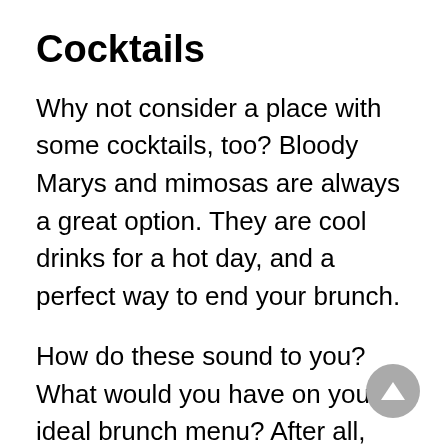Cocktails
Why not consider a place with some cocktails, too? Bloody Marys and mimosas are always a great option. They are cool drinks for a hot day, and a perfect way to end your brunch.
How do these sound to you? What would you have on your ideal brunch menu? After all, there aren't any wrong answers when it comes to brunch.
Keep in mind that even though we've kept things on the cooler and lighter side in this article, it doesn't mean that waffles, crepes, and omelets are out of the question. They can be just as welcome on a brunch menu no matter the time of year.